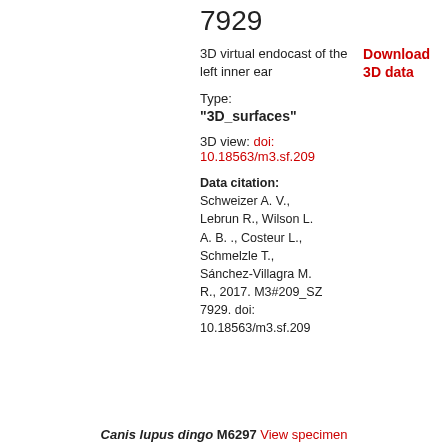7929
3D virtual endocast of the left inner ear
Download 3D data
Type:
"3D_surfaces"
3D view: doi: 10.18563/m3.sf.209
Data citation: Schweizer A. V., Lebrun R., Wilson L. A. B. ., Costeur L., Schmelzle T., Sánchez-Villagra M. R., 2017. M3#209_SZ7929. doi: 10.18563/m3.sf.209
Canis lupus dingo M6297 View specimen